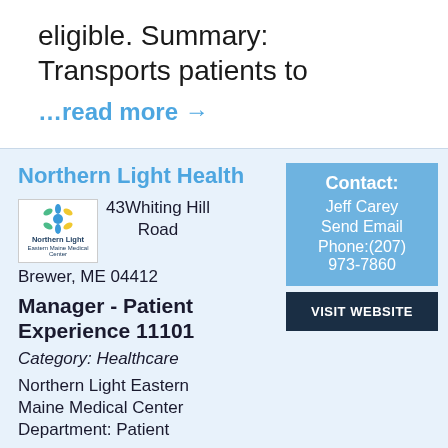eligible. Summary: Transports patients to
…read more →
Northern Light Health
[Figure (logo): Northern Light Eastern Maine Medical Center logo with stylized leaf icon]
43Whiting Hill Road
Brewer, ME 04412
Manager - Patient Experience 11101
Category: Healthcare
Northern Light Eastern Maine Medical Center Department: Patient
Contact: Jeff Carey Send Email Phone:(207) 973-7860
VISIT WEBSITE